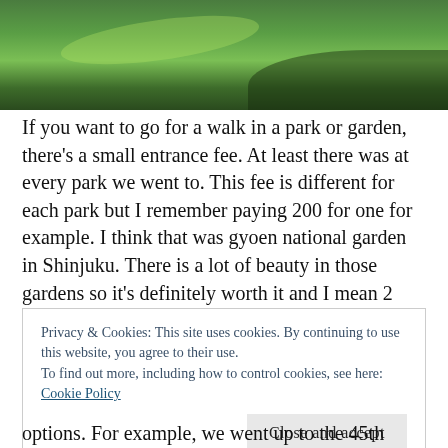[Figure (photo): Green grass lawn with sunlight and shadow in a park or garden]
If you want to go for a walk in a park or garden, there's a small entrance fee. At least there was at every park we went to. This fee is different for each park but I remember paying 200 for one for example. I think that was gyoen national garden in Shinjuku. There is a lot of beauty in those gardens so it's definitely worth it and I mean 2 euro to make sure they keep the park pretty and clean? Perfect!
Privacy & Cookies: This site uses cookies. By continuing to use this website, you agree to their use.
To find out more, including how to control cookies, see here: Cookie Policy
options. For example, we went up to the 45th floor of the